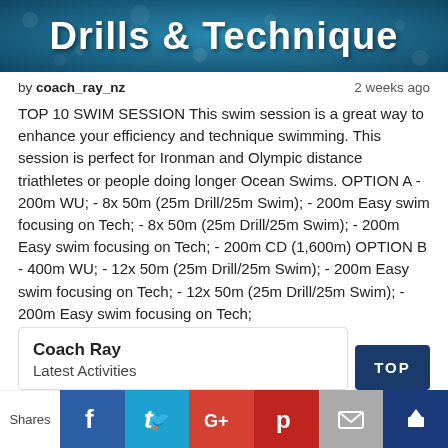[Figure (photo): Banner image with text 'Drills & Technique' over a water/swimming background]
by coach_ray_nz   2 weeks ago
TOP 10 SWIM SESSION This swim session is a great way to enhance your efficiency and technique swimming. This session is perfect for Ironman and Olympic distance triathletes or people doing longer Ocean Swims. OPTION A - 200m WU; - 8x 50m (25m Drill/25m Swim); - 200m Easy swim focusing on Tech; - 8x 50m (25m Drill/25m Swim); - 200m Easy swim focusing on Tech; - 200m CD (1,600m) OPTION B - 400m WU; - 12x 50m (25m Drill/25m Swim); - 200m Easy swim focusing on Tech; - 12x 50m (25m Drill/25m Swim); - 200m Easy swim focusing on Tech;
Coach Ray
Latest Activities
Shares | f | t | G+ | P | mail | crown